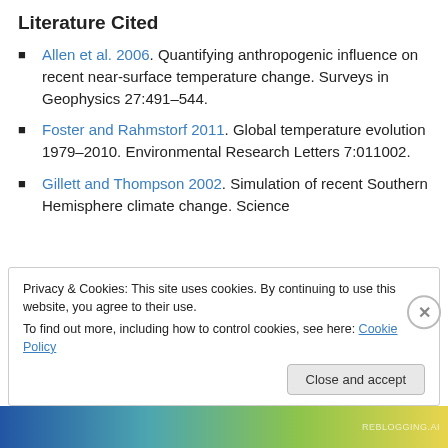Literature Cited
Allen et al. 2006. Quantifying anthropogenic influence on recent near-surface temperature change. Surveys in Geophysics 27:491–544.
Foster and Rahmstorf 2011. Global temperature evolution 1979–2010. Environmental Research Letters 7:011002.
Gillett and Thompson 2002. Simulation of recent Southern Hemisphere climate change. Science
Privacy & Cookies: This site uses cookies. By continuing to use this website, you agree to their use.
To find out more, including how to control cookies, see here: Cookie Policy